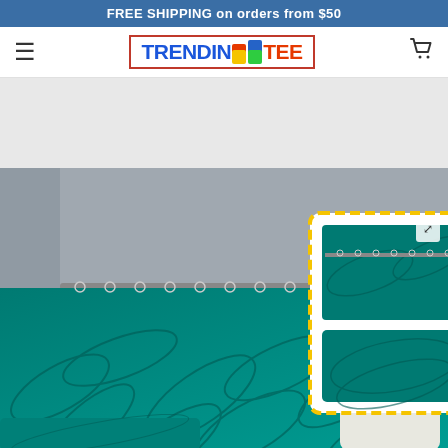FREE SHIPPING on orders from $50
[Figure (logo): TRENDIN TEE logo with colorful puzzle piece icon, red border]
[Figure (photo): Product photo of a teal tropical palm leaf shower curtain and bathroom set (4-piece) featuring bath mats and toilet lid cover, shown in a modern gray tiled bathroom. A yellow dashed-border inset shows all 4 pieces of the set.]